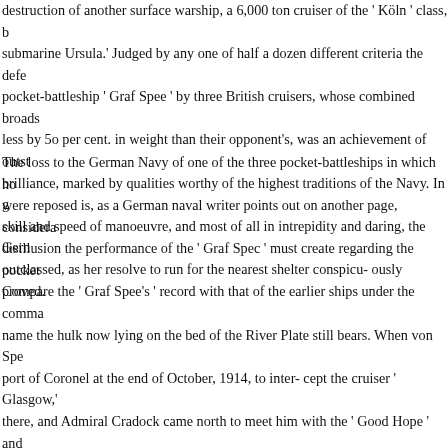destruction of another surface warship, a 6,000 ton cruiser of the ' Köln ' class, b submarine Ursula.' Judged by any one of half a dozen different criteria the defe pocket-battleship ' Graf Spee ' by three British cruisers, whose combined broa less by 5o per cent. in weight than their opponent's, was an achievement of out brilliance, marked by qualities worthy of the highest traditions of the Navy. In skill and speed of manoeuvre, and most of all in intrepidity and daring, the Ge outclassed, as her resolve to run for the nearest shelter conspicu- ously proved.
The loss to the German Navy of one of the three pocket-battleships in which h were reposed is, as a German naval writer points out on another page, consider disillusion the performance of the ' Graf Spec ' must create regarding the pock Compare the ' Graf Spee's ' record with that of the earlier ships under the comm name the hulk now lying on the bed of the River Plate still bears. When von Sp port of Coronel at the end of October, 1914, to inter- cept the cruiser ' Glasgow there, and Admiral Cradock came north to meet him with the ' Good Hope ' a not be in doubt. Von Spee's armoured cruisers, the Scharnhorst ' and Gneisenau three light cruisers), each mounted eight 8- inch guns, which the three British sh greater than 6-inch, except for two 9.2- inch on the ' Good Hope.' Yet Cradock unhesitating courage as the commander of the ' Exeter ' showed last week. The with the ' Good Hope ' sunk, the Monmouth ' blazing and the ' Glasgow' a succ Islands five weeks later the heavier metal gave victory once more, but this tim